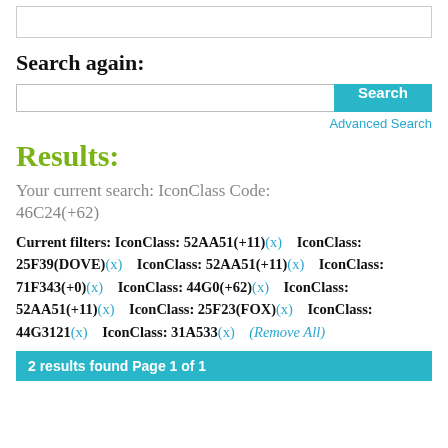Search again:
Search [input box] [Search button]
Advanced Search
Results:
Your current search: IconClass Code:
46C24(+62)
Current filters: IconClass: 52AA51(+11)(x)   IconClass: 25F39(DOVE)(x)   IconClass: 52AA51(+11)(x)   IconClass: 71F343(+0)(x)   IconClass: 44G0(+62)(x)   IconClass: 52AA51(+11)(x)   IconClass: 25F23(FOX)(x)   IconClass: 44G3121(x)   IconClass: 31A533(x)   (Remove All)
2 results found Page 1 of 1